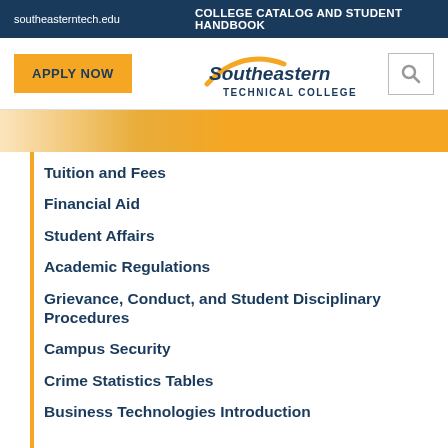southeasterntech.edu   COLLEGE CATALOG AND STUDENT HANDBOOK
[Figure (logo): Southeastern Technical College logo with orange arc and blue text, APPLY NOW button, and search icon]
Tuition and Fees
Financial Aid
Student Affairs
Academic Regulations
Grievance, Conduct, and Student Disciplinary Procedures
Campus Security
Crime Statistics Tables
Business Technologies Introduction